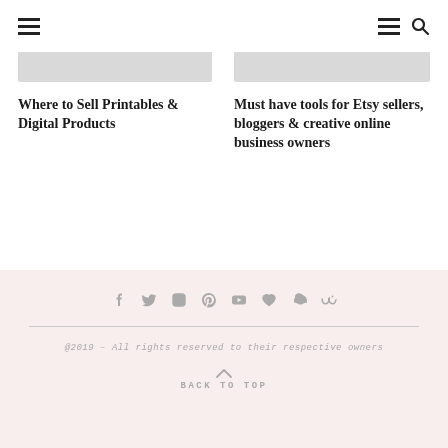Navigation header with hamburger menu, menu icon, and search icon
Where to Sell Printables & Digital Products
Must have tools for Etsy sellers, bloggers & creative online business owners
@2019 - All rights reserved to their respective owners
BACK TO TOP